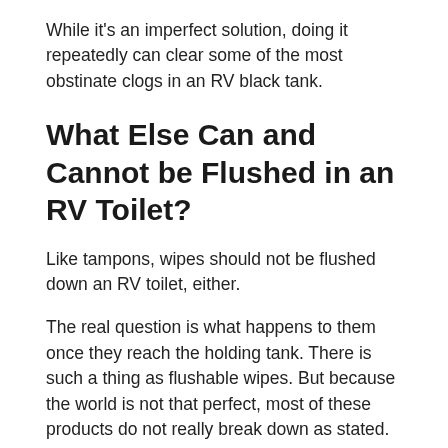While it's an imperfect solution, doing it repeatedly can clear some of the most obstinate clogs in an RV black tank.
What Else Can and Cannot be Flushed in an RV Toilet?
Like tampons, wipes should not be flushed down an RV toilet, either.
The real question is what happens to them once they reach the holding tank. There is such a thing as flushable wipes. But because the world is not that perfect, most of these products do not really break down as stated.
Without those particular exemptions, it is not a sensible